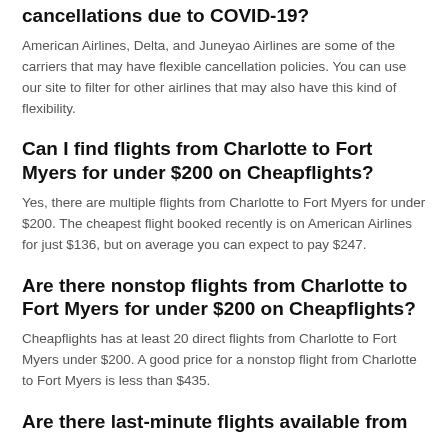cancellations due to COVID-19?
American Airlines, Delta, and Juneyao Airlines are some of the carriers that may have flexible cancellation policies. You can use our site to filter for other airlines that may also have this kind of flexibility.
Can I find flights from Charlotte to Fort Myers for under $200 on Cheapflights?
Yes, there are multiple flights from Charlotte to Fort Myers for under $200. The cheapest flight booked recently is on American Airlines for just $136, but on average you can expect to pay $247.
Are there nonstop flights from Charlotte to Fort Myers for under $200 on Cheapflights?
Cheapflights has at least 20 direct flights from Charlotte to Fort Myers under $200. A good price for a nonstop flight from Charlotte to Fort Myers is less than $435.
Are there last-minute flights available from